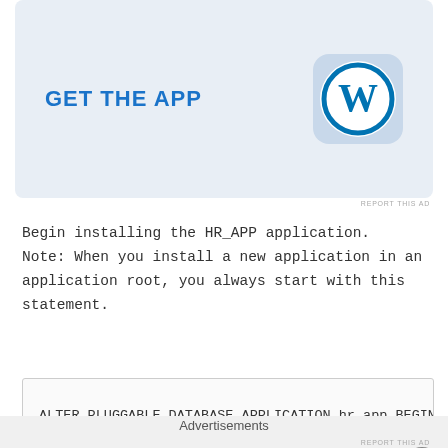[Figure (screenshot): WordPress app advertisement banner with 'GET THE APP' text and WordPress logo icon on blue-grey background]
REPORT THIS AD
Begin installing the HR_APP application.
Note: When you install a new application in an application root, you always start with this statement.
ALTER PLUGGABLE DATABASE APPLICATION hr_app BEGIN IN
Create the application tablespace (HR TBS) and
Advertisements
REPORT THIS AD